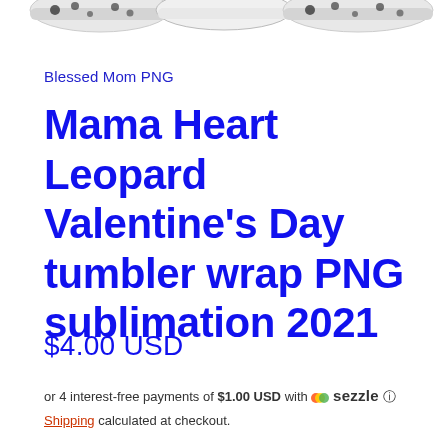[Figure (photo): Partial view of product images (tumblers with leopard/Valentine design) cropped at top of page]
Blessed Mom PNG
Mama Heart Leopard Valentine's Day tumbler wrap PNG sublimation 2021
$4.00 USD
or 4 interest-free payments of $1.00 USD with 🍭 sezzle ℹ
Shipping calculated at checkout.